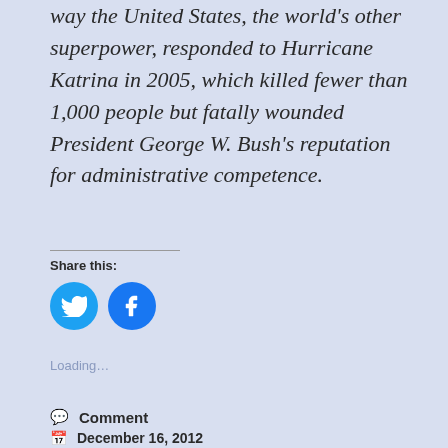way the United States, the world's other superpower, responded to Hurricane Katrina in 2005, which killed fewer than 1,000 people but fatally wounded President George W. Bush's reputation for administrative competence.
Share this:
[Figure (infographic): Twitter and Facebook circular social share buttons in blue]
Loading...
💬 Comment
📅 December 16, 2012